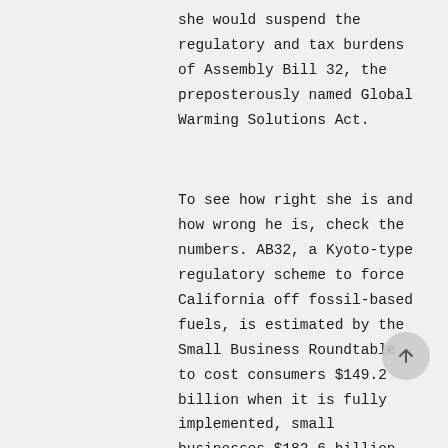she would suspend the regulatory and tax burdens of Assembly Bill 32, the preposterously named Global Warming Solutions Act.
To see how right she is and how wrong he is, check the numbers. AB32, a Kyoto-type regulatory scheme to force California off fossil-based fuels, is estimated by the Small Business Roundtable to cost consumers $149.2 billion when it is fully implemented, small businesses $182.6 billion and to kill about 1.1 million jobs in total. This is on top of today's 12 percent unemployment rate, and tax and regulatory burdens ranking California